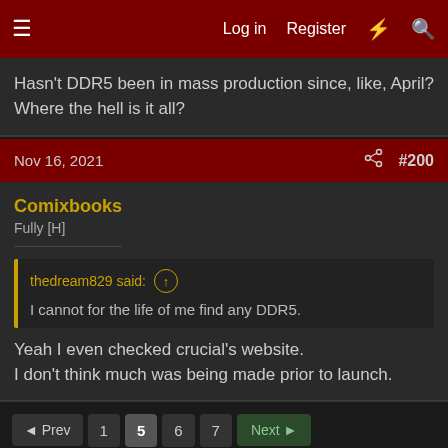Log in  Register
Hasn't DDR5 been in mass production since, like, April? Where the hell is it all?
Nov 16, 2021  #200
Comixbooks
Fully [H]
thedream829 said: ↑
I cannot for the life of me find any DDR5.
Yeah I even checked crucial's website.
I don't think much was being made prior to launch.
◄ Prev  1  5  6  7  Next ►
You must log in or register to reply here.